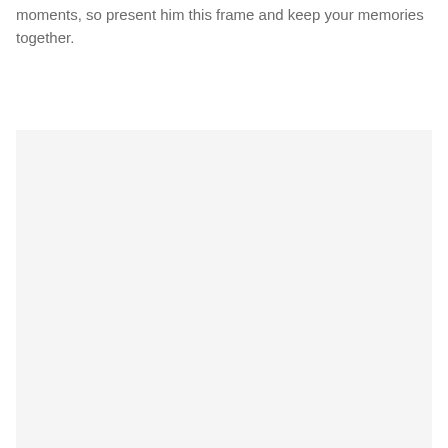moments, so present him this frame and keep your memories together.
[Figure (photo): A large light gray/off-white blank image placeholder area occupying the lower portion of the page.]